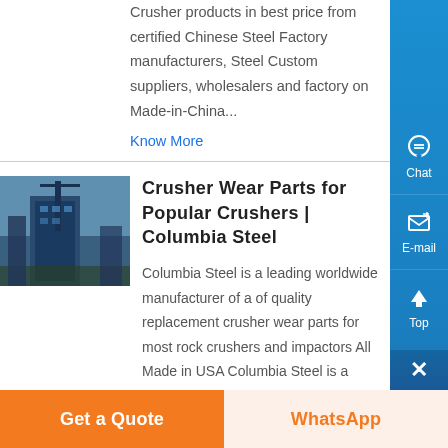Crusher products in best price from certified Chinese Steel Factory manufacturers, Steel Custom suppliers, wholesalers and factory on Made-in-China...
Know More
Crusher Wear Parts for Popular Crushers | Columbia Steel
[Figure (photo): Industrial crusher or processing plant machinery, blue-toned photograph]
Columbia Steel is a leading worldwide manufacturer of a of quality replacement crusher wear parts for most rock crushers and impactors All Made in USA Columbia Steel is a leading worldwide manufacturer of a of quality replacement
Get a Quote
WhatsApp